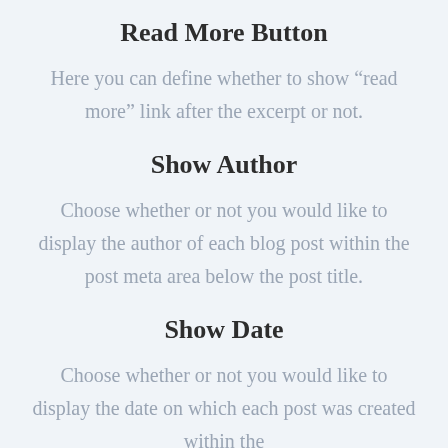Read More Button
Here you can define whether to show “read more” link after the excerpt or not.
Show Author
Choose whether or not you would like to display the author of each blog post within the post meta area below the post title.
Show Date
Choose whether or not you would like to display the date on which each post was created within the